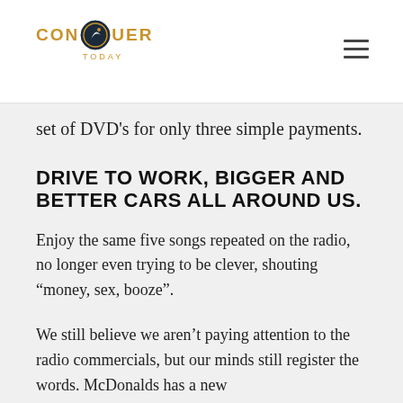CONQUER TODAY
set of DVD's for only three simple payments.
DRIVE TO WORK, BIGGER AND BETTER CARS ALL AROUND US.
Enjoy the same five songs repeated on the radio, no longer even trying to be clever, shouting “money, sex, booze”.
We still believe we aren’t paying attention to the radio commercials, but our minds still register the words. McDonalds has a new